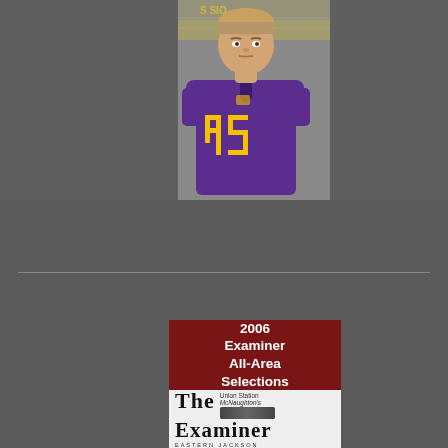[Figure (photo): A young male football player wearing a purple jersey with gold number 45, photographed from the waist up against a stadium/bleacher background.]
[Figure (logo): 2006 Examiner All-Area Selections banner in dark red with white bold text on top, and The Examiner newspaper logo with train graphic on white background below.]